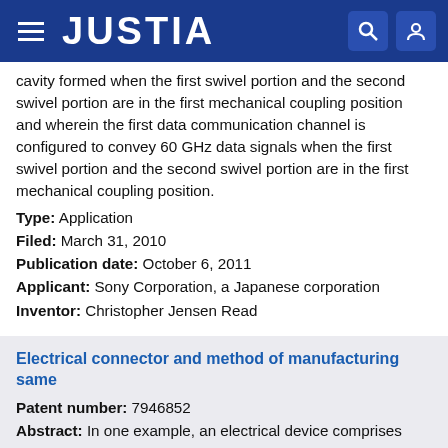JUSTIA
cavity formed when the first swivel portion and the second swivel portion are in the first mechanical coupling position and wherein the first data communication channel is configured to convey 60 GHz data signals when the first swivel portion and the second swivel portion are in the first mechanical coupling position.
Type: Application
Filed: March 31, 2010
Publication date: October 6, 2011
Applicant: Sony Corporation, a Japanese corporation
Inventor: Christopher Jensen Read
Electrical connector and method of manufacturing same
Patent number: 7946852
Abstract: In one example, an electrical device comprises